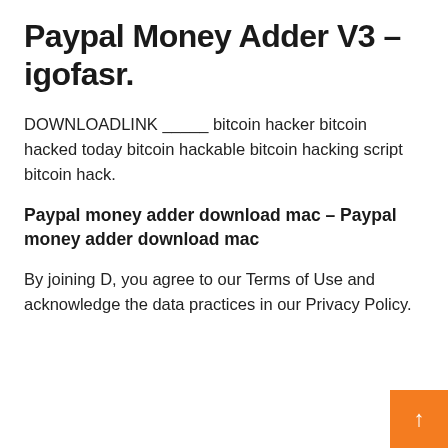Paypal Money Adder V3 – igofasr.
DOWNLOADLINK _____ bitcoin hacker bitcoin hacked today bitcoin hackable bitcoin hacking script bitcoin hack.
Paypal money adder download mac – Paypal money adder download mac
By joining D, you agree to our Terms of Use and acknowledge the data practices in our Privacy Policy.